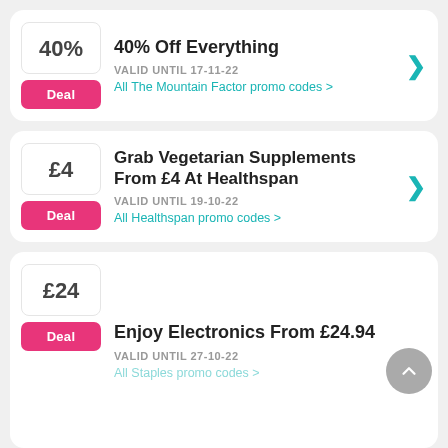40%
Deal
40% Off Everything
VALID UNTIL 17-11-22
All The Mountain Factor promo codes >
£4
Deal
Grab Vegetarian Supplements From £4 At Healthspan
VALID UNTIL 19-10-22
All Healthspan promo codes >
£24
Deal
Enjoy Electronics From £24.94
VALID UNTIL 27-10-22
All Staples promo codes >